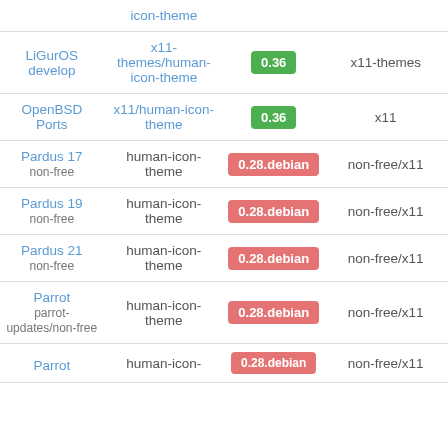| Repository | Package | Version | Category |
| --- | --- | --- | --- |
|  | icon-theme |  |  |
| LiGurOS develop | x11-themes/human-icon-theme | 0.36 | x11-themes |
| OpenBSD Ports | x11/human-icon-theme | 0.36 | x11 |
| Pardus 17
non-free | human-icon-theme | 0.28.debian | non-free/x11 |
| Pardus 19
non-free | human-icon-theme | 0.28.debian | non-free/x11 |
| Pardus 21
non-free | human-icon-theme | 0.28.debian | non-free/x11 |
| Parrot
parrot-updates/non-free | human-icon-theme | 0.28.debian | non-free/x11 |
| Parrot | human-icon-theme | 0.28.debian | non-free/x11 |